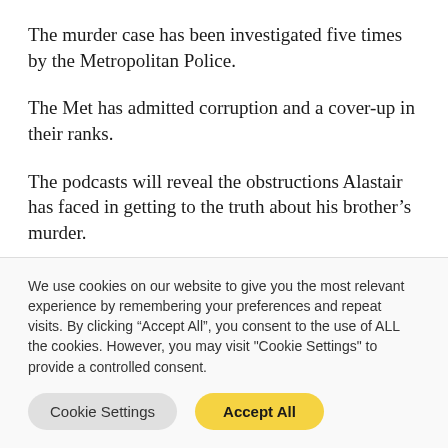The murder case has been investigated five times by the Metropolitan Police.
The Met has admitted corruption and a cover-up in their ranks.
The podcasts will reveal the obstructions Alastair has faced in getting to the truth about his brother’s murder.
We use cookies on our website to give you the most relevant experience by remembering your preferences and repeat visits. By clicking “Accept All”, you consent to the use of ALL the cookies. However, you may visit "Cookie Settings" to provide a controlled consent.